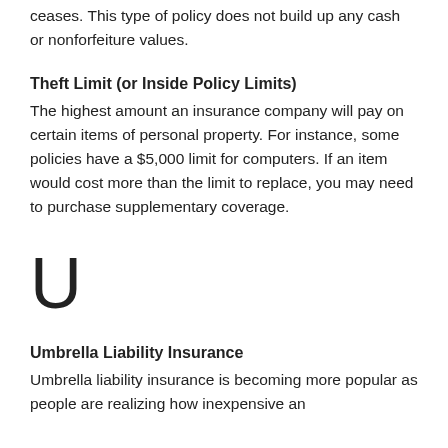ceases. This type of policy does not build up any cash or nonforfeiture values.
Theft Limit (or Inside Policy Limits)
The highest amount an insurance company will pay on certain items of personal property. For instance, some policies have a $5,000 limit for computers. If an item would cost more than the limit to replace, you may need to purchase supplementary coverage.
U
Umbrella Liability Insurance
Umbrella liability insurance is becoming more popular as people are realizing how inexpensive an